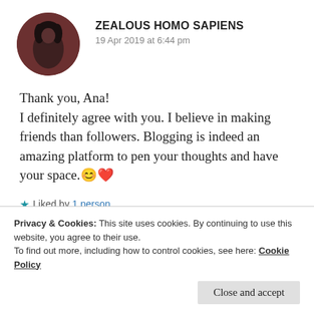[Figure (photo): Circular avatar photo of a person with dark hair against a dark reddish-brown background]
ZEALOUS HOMO SAPIENS
19 Apr 2019 at 6:44 pm
Thank you, Ana!
I definitely agree with you. I believe in making friends than followers. Blogging is indeed an amazing platform to pen your thoughts and have your space. 😊 ❤
★ Liked by 1 person
REPLY
Privacy & Cookies: This site uses cookies. By continuing to use this website, you agree to their use.
To find out more, including how to control cookies, see here: Cookie Policy
Close and accept